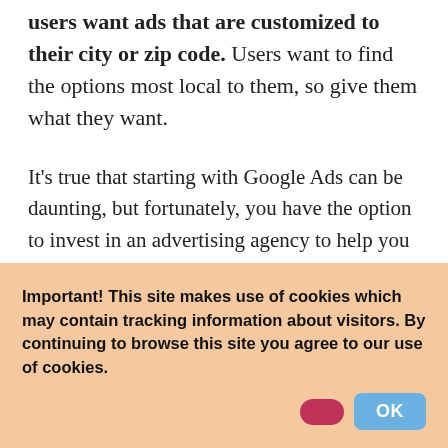users want ads that are customized to their city or zip code. Users want to find the options most local to them, so give them what they want.
It's true that starting with Google Ads can be daunting, but fortunately, you have the option to invest in an advertising agency to help you set up and manage your account and keywords. If you want to go it alone, though, follow these essential steps:
1. Conduct keyword research. This will include...
Important! This site makes use of cookies which may contain tracking information about visitors. By continuing to browse this site you agree to our use of cookies.